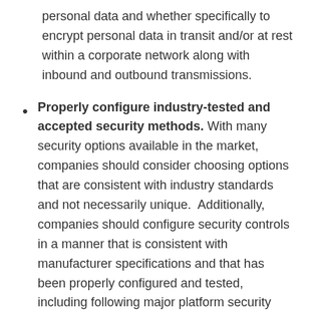personal data and whether specifically to encrypt personal data in transit and/or at rest within a corporate network along with inbound and outbound transmissions.
Properly configure industry-tested and accepted security methods. With many security options available in the market, companies should consider choosing options that are consistent with industry standards and not necessarily unique.  Additionally, companies should configure security controls in a manner that is consistent with manufacturer specifications and that has been properly configured and tested, including following major platform security guidelines for developers.